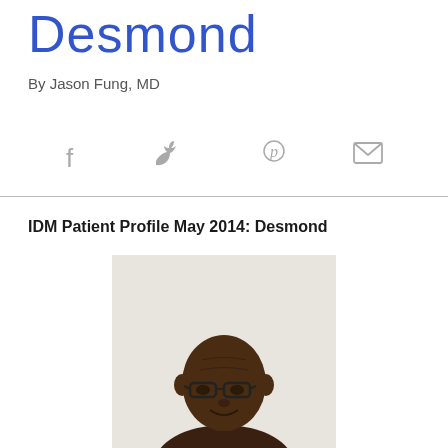Desmond
By Jason Fung, MD
[Figure (other): Social media sharing icons: Facebook, Twitter, Pinterest, Email]
IDM Patient Profile May 2014: Desmond
[Figure (photo): Portrait photo of Desmond, an older Black man wearing glasses, photographed against a light background]